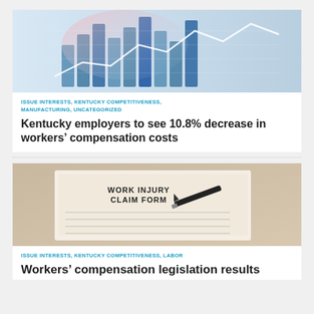[Figure (photo): Photo of stacked coins with financial chart overlay in blue tones]
ISSUE INTERESTS, KENTUCKY COMPETITIVENESS, MANUFACTURING, UNCATEGORIZED
Kentucky employers to see 10.8% decrease in workers' compensation costs
[Figure (photo): Photo of a Work Injury Claim Form with a pen on top]
ISSUE INTERESTS, KENTUCKY COMPETITIVENESS, LABOR
Workers' compensation legislation results